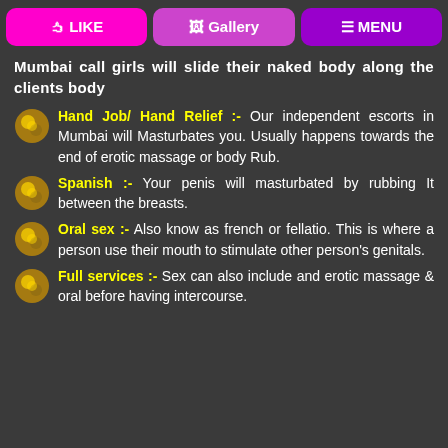LIKE | Gallery | MENU
Mumbai call girls will slide their naked body along the clients body
Hand Job/ Hand Relief :- Our independent escorts in Mumbai will Masturbates you. Usually happens towards the end of erotic massage or body Rub.
Spanish :- Your penis will masturbated by rubbing It between the breasts.
Oral sex :- Also know as french or fellatio. This is where a person use their mouth to stimulate other person's genitals.
Full services :- Sex can also include and erotic massage & oral before having intercourse.